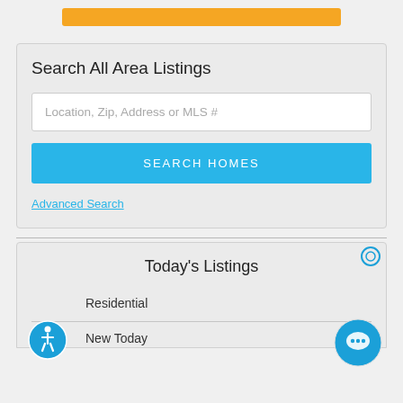[Figure (other): Orange button partially visible at top of page]
Search All Area Listings
Location, Zip, Address or MLS #
SEARCH HOMES
Advanced Search
Today's Listings
Residential
New Today